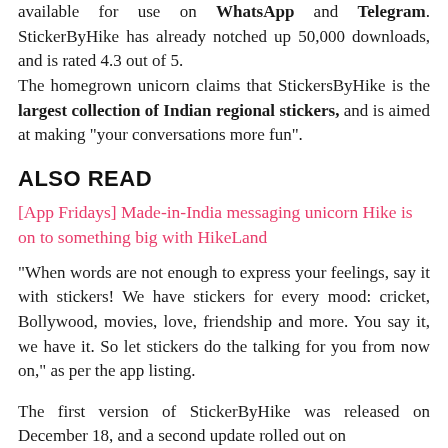available for use on WhatsApp and Telegram. StickerByHike has already notched up 50,000 downloads, and is rated 4.3 out of 5. The homegrown unicorn claims that StickersByHike is the largest collection of Indian regional stickers, and is aimed at making "your conversations more fun".
ALSO READ
[App Fridays] Made-in-India messaging unicorn Hike is on to something big with HikeLand
"When words are not enough to express your feelings, say it with stickers! We have stickers for every mood: cricket, Bollywood, movies, love, friendship and more. You say it, we have it. So let stickers do the talking for you from now on," as per the app listing.
The first version of StickerByHike was released on December 18, and a second update rolled out on